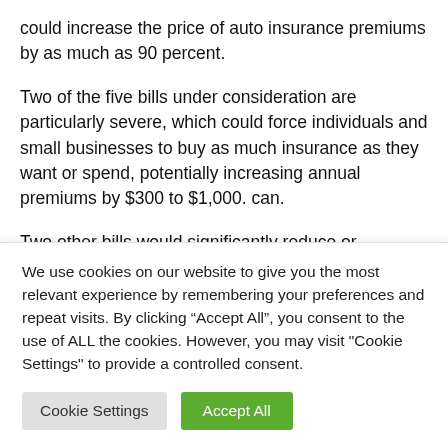could increase the price of auto insurance premiums by as much as 90 percent.
Two of the five bills under consideration are particularly severe, which could force individuals and small businesses to buy as much insurance as they want or spend, potentially increasing annual premiums by $300 to $1,000. can.
Two other bills would significantly reduce or
We use cookies on our website to give you the most relevant experience by remembering your preferences and repeat visits. By clicking “Accept All”, you consent to the use of ALL the cookies. However, you may visit "Cookie Settings" to provide a controlled consent.